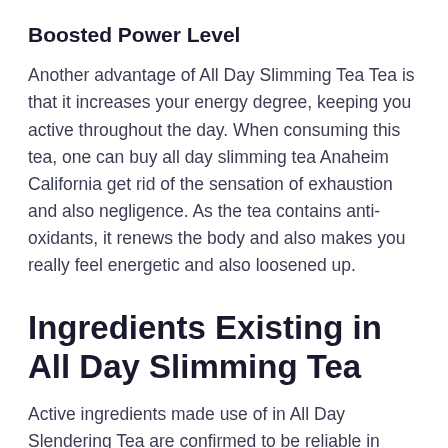Boosted Power Level
Another advantage of All Day Slimming Tea Tea is that it increases your energy degree, keeping you active throughout the day. When consuming this tea, one can buy all day slimming tea Anaheim California get rid of the sensation of exhaustion and also negligence. As the tea contains anti-oxidants, it renews the body and also makes you really feel energetic and also loosened up.
Ingredients Existing in All Day Slimming Tea
Active ingredients made use of in All Day Slendering Tea are confirmed to be reliable in